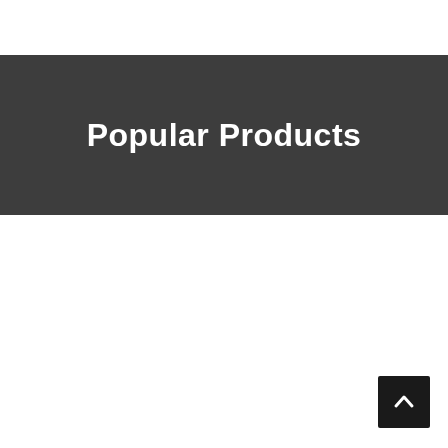Popular Products
[Figure (other): Back to top button — small dark square with an upward-pointing chevron arrow, positioned at bottom-right corner]